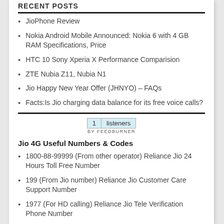RECENT POSTS
JioPhone Review
Nokia Android Mobile Announced: Nokia 6 with 4 GB RAM Specifications, Price
HTC 10 Sony Xperia X Performance Comparision
ZTE Nubia Z11, Nubia N1
Jio Happy New Year Offer (JHNYO) – FAQs
Facts:Is Jio charging data balance for its free voice calls?
[Figure (other): FeedBurner widget showing 1 listeners BY FEEDBURNER]
Jio 4G Useful Numbers & Codes
1800-88-99999 (From other operator) Reliance Jio 24 Hours Toll Free Number
199 (From Jio number) Reliance Jio Customer Care Support Number
1977 (For HD calling) Reliance Jio Tele Verification Phone Number